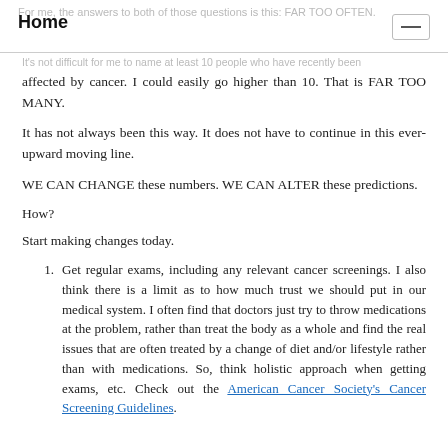Home
For me, the answers to both of those questions is this: FAR TOO OFTEN. It's not difficult for me to name at least 10 people who have recently been affected by cancer. I could easily go higher than 10. That is FAR TOO MANY.
It has not always been this way. It does not have to continue in this ever-upward moving line.
WE CAN CHANGE these numbers. WE CAN ALTER these predictions.
How?
Start making changes today.
Get regular exams, including any relevant cancer screenings. I also think there is a limit as to how much trust we should put in our medical system. I often find that doctors just try to throw medications at the problem, rather than treat the body as a whole and find the real issues that are often treated by a change of diet and/or lifestyle rather than with medications. So, think holistic approach when getting exams, etc. Check out the American Cancer Society's Cancer Screening Guidelines.